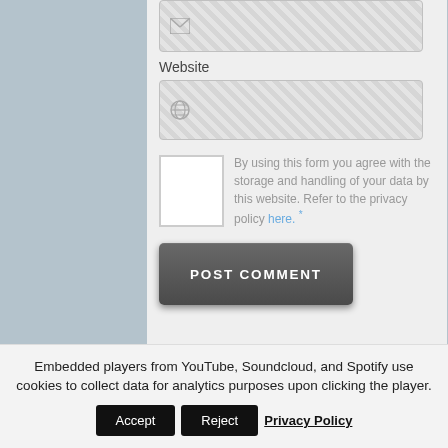Website
By using this form you agree with the storage and handling of your data by this website. Refer to the privacy policy here. *
POST COMMENT
This site uses Akismet to reduce spam. Learn how your comment data is processed.
Embedded players from YouTube, Soundcloud, and Spotify use cookies to collect data for analytics purposes upon clicking the player.
Accept
Reject
Privacy Policy